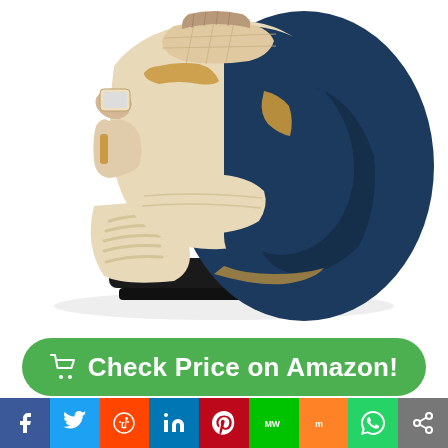[Figure (photo): A luxury massage chair in cream/beige and navy blue with gold accents, featuring a tablet holder on the left armrest, shown at a 3/4 angle on a white background.]
🛒 Check Price on Amazon!
[Figure (infographic): Social sharing bar with icons: Facebook, Twitter, Reddit, LinkedIn, Pinterest, MixedW, Mix, WhatsApp, Share]